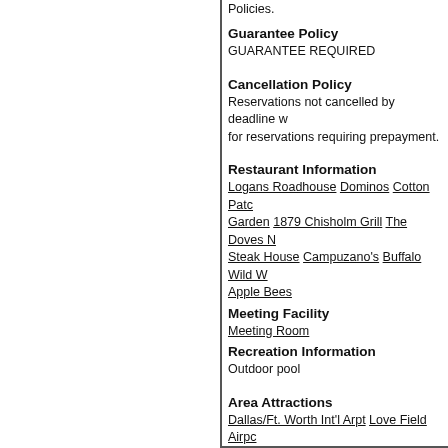Policies.
Guarantee Policy
GUARANTEE REQUIRED
Cancellation Policy
Reservations not cancelled by deadline w... for reservations requiring prepayment.
Restaurant Information
Logans Roadhouse Dominos Cotton Patch Garden 1879 Chisholm Grill The Doves N... Steak House Campuzano's Buffalo Wild W... Apple Bees
Meeting Facility
Meeting Room
Recreation Information
Outdoor pool
Area Attractions
Dallas/Ft. Worth Int'l Arpt Love Field Airpo... Trail Historic Downtown Getzendaner Par... Screams Theme Park Scarborough Fair D...